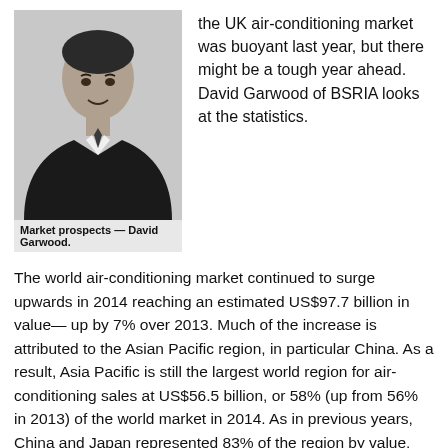[Figure (photo): Headshot of David Garwood, a man in a dark suit and tie, black and white photo]
Market prospects — David Garwood.
the UK air-conditioning market was buoyant last year, but there might be a tough year ahead. David Garwood of BSRIA looks at the statistics.
The world air-conditioning market continued to surge upwards in 2014 reaching an estimated US$97.7 billion in value— up by 7% over 2013. Much of the increase is attributed to the Asian Pacific region, in particular China. As a result, Asia Pacific is still the largest world region for air-conditioning sales at US$56.5 billion, or 58% (up from 56% in 2013) of the world market in 2014. As in previous years, China and Japan represented 83% of the region by value.
Split-system sales in China grew in 2014, being mainly driven by the popularity of VRF and ducted splits.